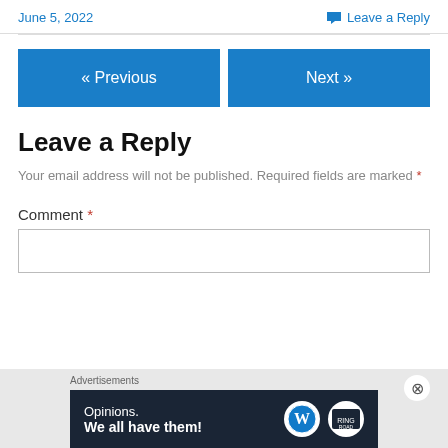June 5, 2022
Leave a Reply
« Previous
Next »
Leave a Reply
Your email address will not be published. Required fields are marked *
Comment *
[Figure (screenshot): Advertisements banner: 'Opinions. We all have them!' with WordPress and another logo on dark background]